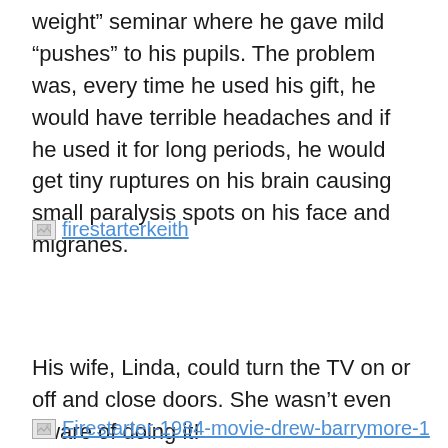weight” seminar where he gave mild “pushes” to his pupils. The problem was, every time he used his gift, he would have terrible headaches and if he used it for long periods, he would get tiny ruptures on his brain causing small paralysis spots on his face and migranes.
[Figure (other): Broken image placeholder with link text 'firestarterkeith']
His wife, Linda, could turn the TV on or off and close doors. She wasn’t even aware of doing it!
[Figure (other): Broken image placeholder with link text 'Firestarter-1984-movie-drew-barrymore-1']